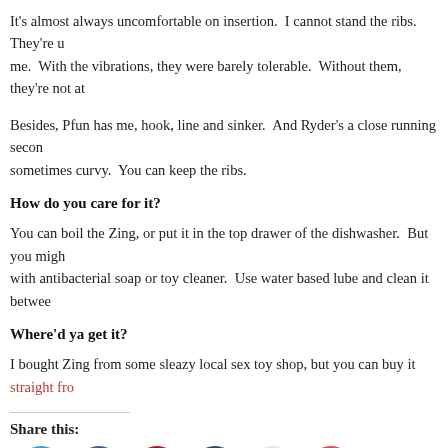It's almost always uncomfortable on insertion. I cannot stand the ribs. They're u... me. With the vibrations, they were barely tolerable. Without them, they're not at...
Besides, Pfun has me, hook, line and sinker. And Ryder's a close running secon... sometimes curvy. You can keep the ribs.
How do you care for it?
You can boil the Zing, or put it in the top drawer of the dishwasher. But you migh... with antibacterial soap or toy cleaner. Use water based lube and clean it betwee...
Where'd ya get it?
I bought Zing from some sleazy local sex toy shop, but you can buy it straight fro...
Share this:
[Figure (infographic): Row of social sharing icon buttons: Twitter (blue circle), Facebook (dark blue circle), Pinterest (red circle), Tumblr (dark navy circle), Reddit (light blue circle), Pocket (red circle)]
Like this:
Loading...
Rayne    anal toy, review, tantus